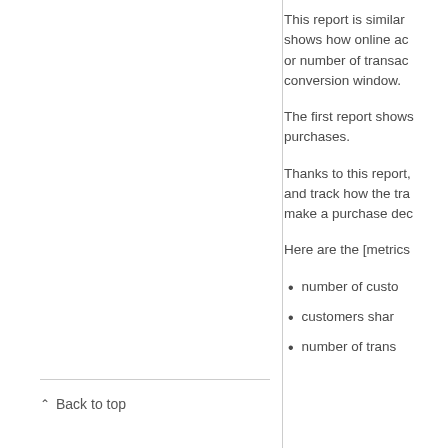This report is similar shows how online ac or number of transac conversion window.
The first report shows purchases.
Thanks to this report, and track how the tra make a purchase dec
Here are the [metrics
number of custo
customers shar
number of trans
Back to top